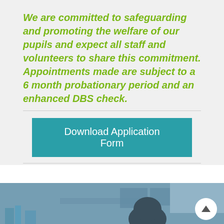We are committed to safeguarding and promoting the welfare of our pupils and expect all staff and volunteers to share this commitment. Appointments made are subject to a 6 month probationary period and an enhanced DBS check.
Download Application Form
[Figure (photo): Classroom scene with a student viewed from behind, sitting at a desk with computers and windows in the background; blue tinted overlay]